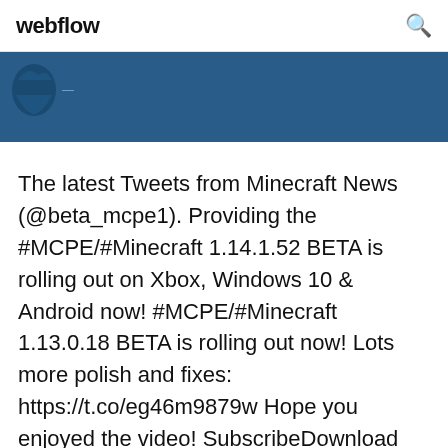webflow
[Figure (screenshot): Dark blue banner with a partial figure/icon in the upper left corner]
The latest Tweets from Minecraft News (@beta_mcpe1). Providing the #MCPE/#Minecraft 1.14.1.52 BETA is rolling out on Xbox, Windows 10 & Android now! #MCPE/#Minecraft 1.13.0.18 BETA is rolling out now! Lots more polish and fixes: https://t.co/eg46m9879w Hope you enjoyed the video! SubscribeDownload Minecraft PE v1.12.1.1, v1.13.1.5 Beta